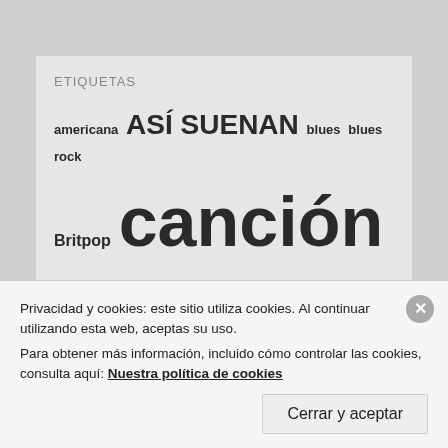ETIQUETAS
americana ASÍ SUENAN blues blues rock Britpop canción de la semana country David Bowie Desnudando la música dream pop Escocia Folk folk pop folk rock garage pop garaj...
Privacidad y cookies: este sitio utiliza cookies. Al continuar utilizando esta web, aceptas su uso.
Para obtener más información, incluido cómo controlar las cookies, consulta aquí: Nuestra política de cookies
Cerrar y aceptar